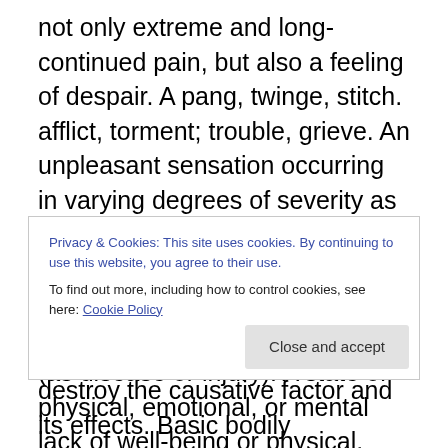not only extreme and long-continued pain, but also a feeling of despair. A pang, twinge, stitch. afflict, torment; trouble, grieve. An unpleasant sensation occurring in varying degrees of severity as a consequence of injury, disease, or emotional disorder. Suffering or distress. A physical discomfort associated with bodily disorder (as disease or injury). A state of physical, emotional, or mental lack of well-being or physical, emotional, or mental uneasiness that ranges from mild discomfort or dull distress to acute often unbearable agony, may be generalized or localized, and is the consequence of being
Privacy & Cookies: This site uses cookies. By continuing to use this website, you agree to their use.
To find out more, including how to control cookies, see here: Cookie Policy
destroy the causative factor and its effects. Basic bodily